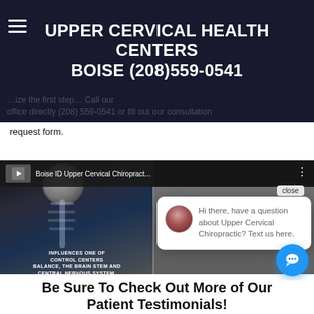UPPER CERVICAL HEALTH CENTERS BOISE (208)559-0541
…ize the first step…Call our office directly (208) 559-0541 or fill out our consultation request form.
[Figure (screenshot): YouTube video embed showing 'Boise ID Upper Cervical Chiropract...' with a spinal anatomy illustration. Overlaid chat popup: 'Hi there, have a question about Upper Cervical Chiropractic? Text us here.' with avatar photo and close button. Blue chat FAB button bottom right.]
Be Sure To Check Out More of Our Patient Testimonials!